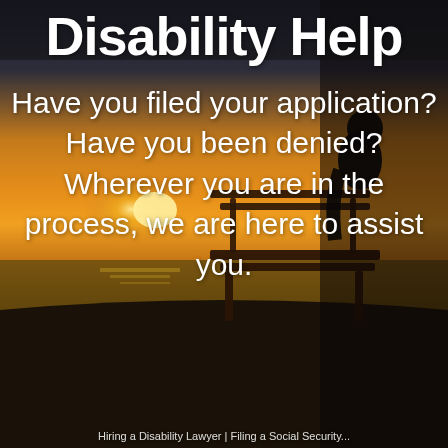[Figure (photo): Background photo of a person sitting alone on a bench at sunset by the water, with warm orange and golden tones in the sky and a dark silhouetted figure]
Disability Help
Have you filed your application? Have you been denied? Wherever you are in the process, we are here to assist you.
Hiring a Disability Lawyer | Filing a Social Security...